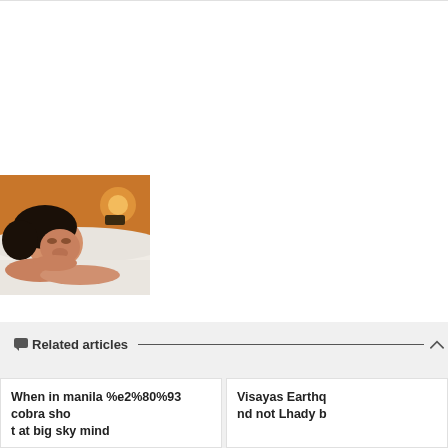[Figure (photo): Photo of a young Asian woman lying down, resting her chin on her hands, with a warm brown background suggesting an indoor setting with bedding or sheets.]
Related articles
When in manila %e2%80%93 cobra shot at big sky mind
Visayas Earthquake not Lhady b